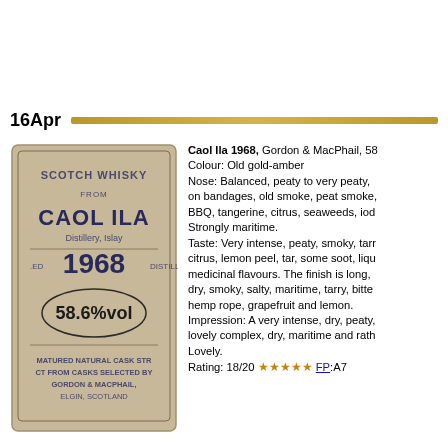16Apr
[Figure (photo): Caol Ila 1968 Scotch Whisky bottle label from Gordon & MacPhail, showing 58.6%vol, Distillery Islay, Matured Natural Cask Strength]
Caol Ila 1968, Gordon & MacPhail, 58
Colour: Old gold-amber
Nose: Balanced, peaty to very peaty, on bandages, old smoke, peat smoke BBQ, tangerine, citrus, seaweeds, iod Strongly maritime.
Taste: Very intense, peaty, smoky, tarr citrus, lemon peel, tar, some soot, liqu medicinal flavours. The finish is long, dry, smoky, salty, maritime, tarry, bitte hemp rope, grapefruit and lemon.
Impression: A very intense, dry, peaty, lovely complex, dry, maritime and rath Lovely.
Rating: 18/20 ★★★★★ FP:A7